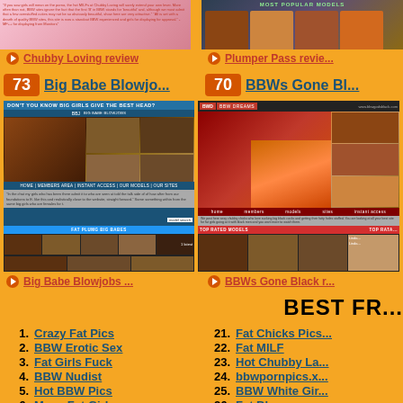[Figure (screenshot): Top left website thumbnail - pink/adult content site screenshot]
[Figure (screenshot): Top right website thumbnail - dark adult content site with model photos]
Chubby Loving review
Plumper Pass review
73 Big Babe Blowjo...
70 BBWs Gone Bl...
[Figure (screenshot): Big Babe Blowjobs website screenshot with blue header and navigation]
[Figure (screenshot): BBWs Gone Black website screenshot with red header]
Big Babe Blowjobs ...
BBWs Gone Black r...
BEST FR...
1. Crazy Fat Pics
2. BBW Erotic Sex
3. Fat Girls Fuck
4. BBW Nudist
5. Hot BBW Pics
6. Mega Fat Girls
21. Fat Chicks Pics...
22. Fat MILF
23. Hot Chubby La...
24. bbwpornpics.x...
25. BBW White Gir...
26. Fat Bbw